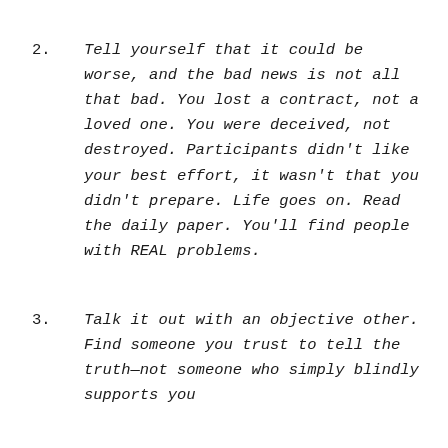2. Tell yourself that it could be worse, and the bad news is not all that bad. You lost a contract, not a loved one. You were deceived, not destroyed. Participants didn't like your best effort, it wasn't that you didn't prepare. Life goes on. Read the daily paper. You'll find people with REAL problems.
3. Talk it out with an objective other. Find someone you trust to tell the truth—not someone who simply blindly supports you